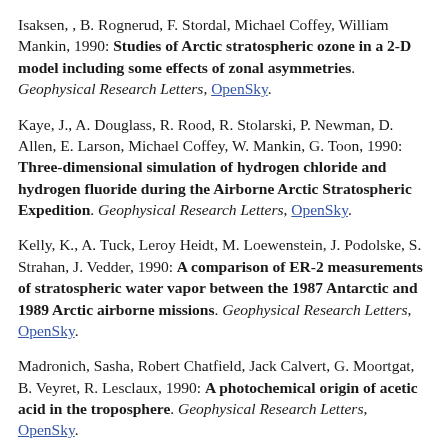Isaksen, , B. Rognerud, F. Stordal, Michael Coffey, William Mankin, 1990: Studies of Arctic stratospheric ozone in a 2-D model including some effects of zonal asymmetries. Geophysical Research Letters, OpenSky.
Kaye, J., A. Douglass, R. Rood, R. Stolarski, P. Newman, D. Allen, E. Larson, Michael Coffey, W. Mankin, G. Toon, 1990: Three-dimensional simulation of hydrogen chloride and hydrogen fluoride during the Airborne Arctic Stratospheric Expedition. Geophysical Research Letters, OpenSky.
Kelly, K., A. Tuck, Leroy Heidt, M. Loewenstein, J. Podolske, S. Strahan, J. Vedder, 1990: A comparison of ER-2 measurements of stratospheric water vapor between the 1987 Antarctic and 1989 Arctic airborne missions. Geophysical Research Letters, OpenSky.
Madronich, Sasha, Robert Chatfield, Jack Calvert, G. Moortgat, B. Veyret, R. Lesclaux, 1990: A photochemical origin of acetic acid in the troposphere. Geophysical Research Letters, OpenSky.
Madronich, Sasha, Jack Calvert, 1990: Permutation reactions of organic peroxy radicals in the troposphere. Journal of Geophysical Research-Atmospheres, OpenSky.